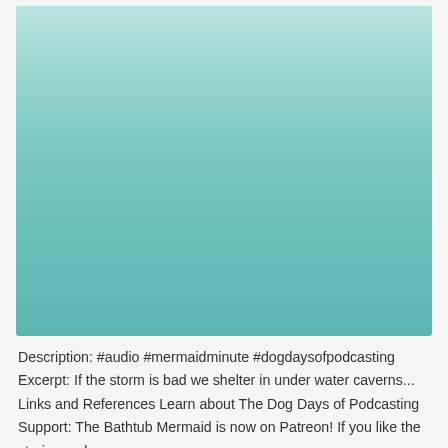[Figure (illustration): Podcast cover art showing a mermaid woman with headphones and microphone sitting in a bathtub/teacup, with a dog-fish hybrid creature on the left and a shark on the right, against a teal water background. Title text 'Tales From the Tub' at the bottom in white bold font.]
Description: #audio #mermaidminute #dogdaysofpodcasting Excerpt: If the storm is bad we shelter in under water caverns... Links and References Learn about The Dog Days of Podcasting Support: The Bathtub Mermaid is now on Patreon! If you like the stories and essays